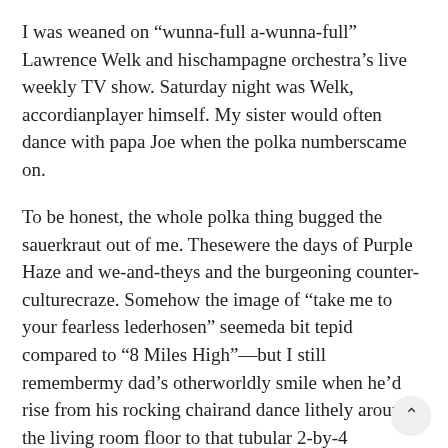I was weaned on “wunna-full a-wunna-full” Lawrence Welk and hischampagne orchestra’s live weekly TV show. Saturday night was Welk, accordianplayer himself. My sister would often dance with papa Joe when the polka numberscame on.
To be honest, the whole polka thing bugged the sauerkraut out of me. Thesewere the days of Purple Haze and we-and-theys and the burgeoning counter-culturecraze. Somehow the image of “take me to your fearless lederhosen” seemeda bit tepid compared to “8 Miles High”—but I still remembermy dad’s otherworldly smile when he’d rise from his rocking chairand dance lithely around the living room floor to that tubular 2-by-4 polkabeat.